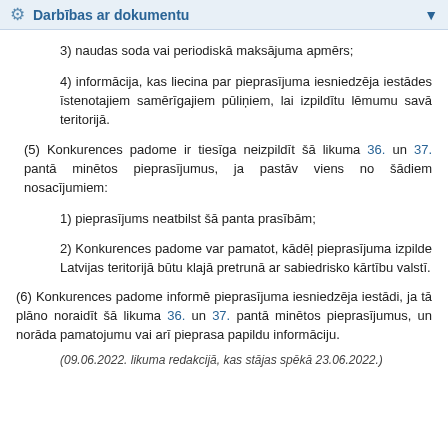Darbības ar dokumentu
3) naudas soda vai periodiskā maksājuma apmērs;
4) informācija, kas liecina par pieprasījuma iesniedzēja iestādes īstenotajiem samērīgajiem pūliņiem, lai izpildītu lēmumu savā teritorijā.
(5) Konkurences padome ir tiesīga neizpildīt šā likuma 36. un 37. pantā minētos pieprasījumus, ja pastāv viens no šādiem nosacījumiem:
1) pieprasījums neatbilst šā panta prasībām;
2) Konkurences padome var pamatot, kādēļ pieprasījuma izpilde Latvijas teritorijā būtu klajā pretrunā ar sabiedrisko kārtību valstī.
(6) Konkurences padome informē pieprasījuma iesniedzēja iestādi, ja tā plāno noraidīt šā likuma 36. un 37. pantā minētos pieprasījumus, un norāda pamatojumu vai arī pieprasa papildu informāciju.
(09.06.2022. likuma redakcijā, kas stājas spēkā 23.06.2022.)